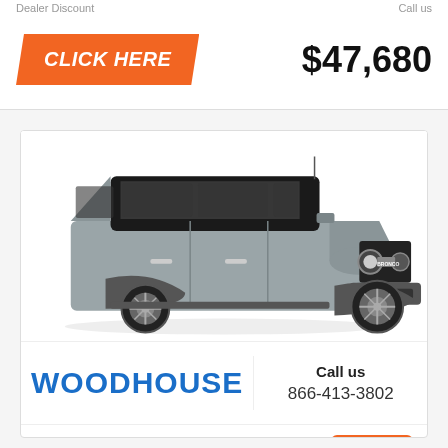Dealer Discount
Call us
CLICK HERE
$47,680
[Figure (photo): Gray 2022 Ford Bronco SUV, 4-door, black roof, shown in 3/4 front view on white background]
WOODHOUSE
Call us
866-413-3802
2022 Ford Bronco
Top